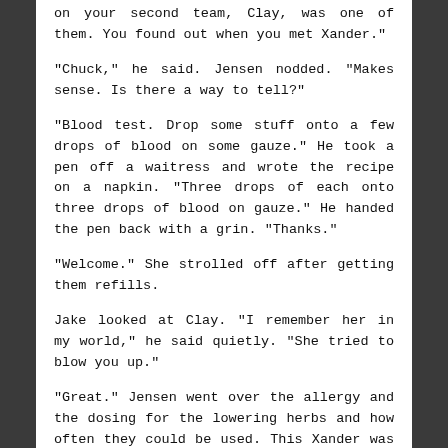on your second team, Clay, was one of them. You found out when you met Xander."
"Chuck," he said. Jensen nodded. "Makes sense. Is there a way to tell?"
"Blood test. Drop some stuff onto a few drops of blood on some gauze." He took a pen off a waitress and wrote the recipe on a napkin. "Three drops of each onto three drops of blood on gauze." He handed the pen back with a grin. "Thanks."
"Welcome." She strolled off after getting them refills.
Jake looked at Clay. "I remember her in my world," he said quietly. "She tried to blow you up."
"Great." Jensen went over the allergy and the dosing for the lowering herbs and how often they could be used. This Xander was softer, he needed more watching over. This team would probably run into him sometime soon and he could also warn them about Bolivia and Max. Plus about Jolene's mood swings. They were nasty and dangerous for more than Pooch.
***
Clint sat down with Wade that night, going over how the